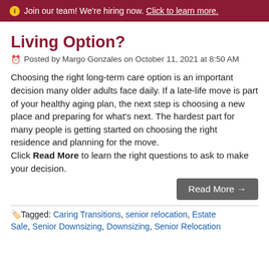ℹ Join our team! We're hiring now. Click to learn more.
Living Option?
Posted by Margo Gonzales on October 11, 2021 at 8:50 AM
Choosing the right long-term care option is an important decision many older adults face daily. If a late-life move is part of your healthy aging plan, the next step is choosing a new place and preparing for what's next. The hardest part for many people is getting started on choosing the right residence and planning for the move.
Click Read More to learn the right questions to ask to make your decision.
Read More →
Tagged: Caring Transitions, senior relocation, Estate Sale, Senior Downsizing, Downsizing, Senior Relocation